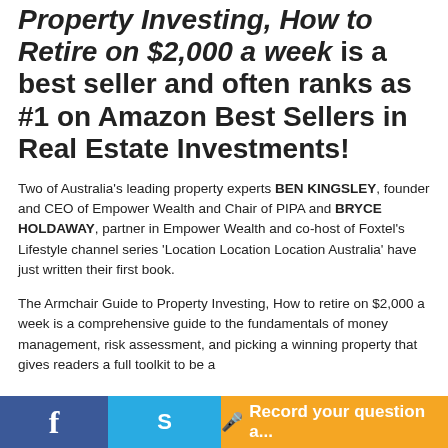Property Investing, How to Retire on $2,000 a week is a best seller and often ranks as #1 on Amazon Best Sellers in Real Estate Investments!
Two of Australia's leading property experts BEN KINGSLEY, founder and CEO of Empower Wealth and Chair of PIPA and BRYCE HOLDAWAY, partner in Empower Wealth and co-host of Foxtel's Lifestyle channel series 'Location Location Location Australia' have just written their first book.
The Armchair Guide to Property Investing, How to retire on $2,000 a week is a comprehensive guide to the fundamentals of money management, risk assessment, and picking a winning property that gives readers a full toolkit to be a